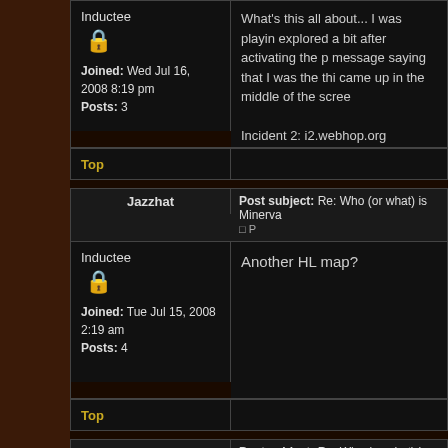Inductee
Joined: Wed Jul 16, 2008 8:19 pm
Posts: 3
What's this all about... I was playing explored a bit after activating the p message saying that I was the thi came up in the middle of the scree

Incident 2: i2.webhop.org

The site is dead. What used to be
Top
Jazzhat
Post subject: Re: Who (or what) is Minerva
Inductee
Joined: Tue Jul 15, 2008 2:19 am
Posts: 4
Another HL map?
Top
Post subject: Re: Who (or what) is Min